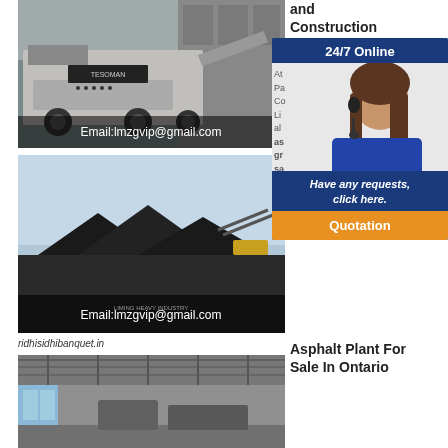[Figure (photo): Mobile crusher/screening machine with email overlay: Email:lmzgvip@gmail.com]
[Figure (photo): Large aggregate/mining stockpile operation with email overlay: Email:lmzgvip@gmail.com]
and Construction Ltd
[Figure (infographic): 24/7 Online chat widget with agent photo, 'Have any requests, click here.' and Quotation button]
ridhisidhibanquet.in
[Figure (photo): Interior of industrial building/warehouse]
Asphalt Plant For Sale In Ontario